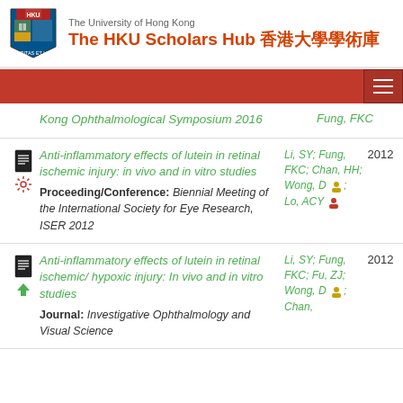The University of Hong Kong — The HKU Scholars Hub 香港大學學術庫
Kong Ophthalmological Symposium 2016 | Authors: Fung, FKC
Anti-inflammatory effects of lutein in retinal ischemic injury: in vivo and in vitro studies | Proceeding/Conference: Biennial Meeting of the International Society for Eye Research, ISER 2012 | Authors: Li, SY; Fung, FKC; Chan, HH; Wong, D; Lo, ACY | Year: 2012
Anti-inflammatory effects of lutein in retinal ischemic/ hypoxic injury: In vivo and in vitro studies | Journal: Investigative Ophthalmology and Visual Science | Authors: Li, SY; Fung, FKC; Fu, ZJ; Wong, D; Chan, | Year: 2012